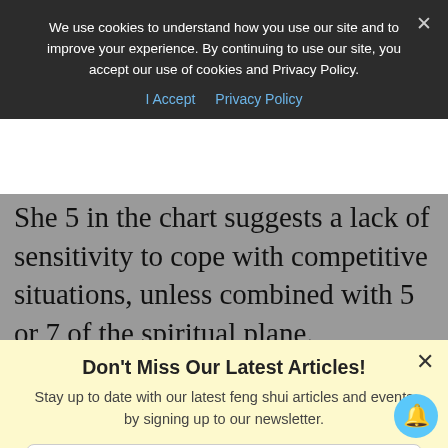We use cookies to understand how you use our site and to improve your experience. By continuing to use our site, you accept our use of cookies and Privacy Policy.
I Accept  Privacy Policy
She 5 in the chart suggests a lack of sensitivity to cope with competitive situations, unless combined with 5 or 7 of the spiritual plane.
Don't Miss Our Latest Articles!
Stay up to date with our latest feng shui articles and events by signing up to our newsletter.
Enter Your Email
SUBSCRIBE NOW
No thanks, I'm not interested